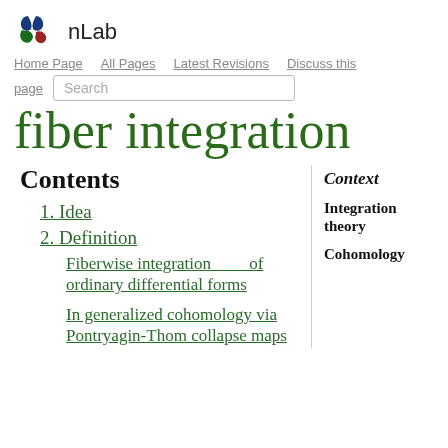nLab
Home Page | All Pages | Latest Revisions | Discuss this page
fiber integration
Contents
1. Idea
2. Definition
Fiberwise integration of ordinary differential forms
In generalized cohomology via Pontryagin-Thom collapse maps
Context
Integration theory
Cohomology